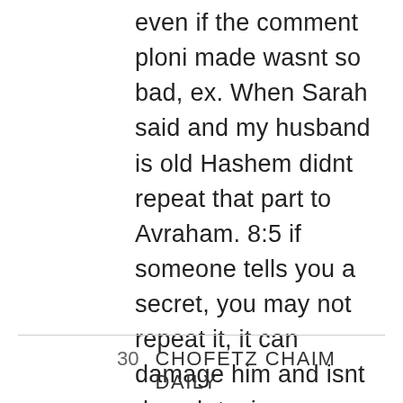even if the comment ploni made wasnt so bad, ex. When Sarah said and my husband is old Hashem didnt repeat that part to Avraham. 8:5 if someone tells you a secret, you may not repeat it, it can damage him and isnt derech tznius.
30  CHOFETZ CHAIM DAILY